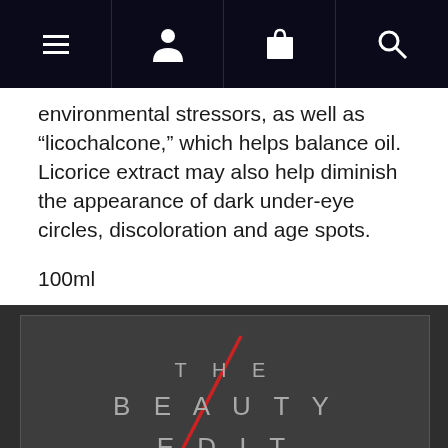[Figure (screenshot): Dark navy navigation bar with four icons: hamburger menu, user/person icon, shopping bag icon, and search/magnifying glass icon]
environmental stressors, as well as “licochalcone,” which helps balance oil. Licorice extract may also help diminish the appearance of dark under-eye circles, discoloration and age spots.
100ml
[Figure (logo): The Beauty Edit logo on dark background with a red diagonal slash overlapping text reading THE BEAUTY EDIT in spaced letters]
THE BEAUTY EDIT
Offers a carefully curated selection of natural beauty products tha...